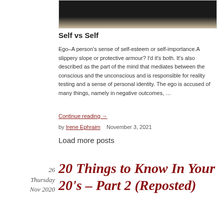[Figure (photo): Partial photo of a person, cropped showing dark clothing against a beige background]
Self vs Self
Ego–A person's sense of self-esteem or self-importance.A slippery slope or protective armour? I'd it's both. It's also described as the part of the mind that mediates between the conscious and the unconscious and is responsible for reality testing and a sense of personal identity. The ego is accused of many things, namely in negative outcomes, …
Continue reading →
by Irene Ephraim   November 3, 2021
Load more posts
26
Thursday
Nov 2020
20 Things to Know In Your 20's – Part 2 (Reposted)